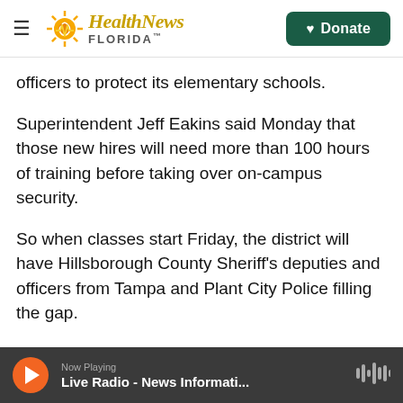Health News Florida — Donate
officers to protect its elementary schools.
Superintendent Jeff Eakins said Monday that those new hires will need more than 100 hours of training before taking over on-campus security.
So when classes start Friday, the district will have Hillsborough County Sheriff's deputies and officers from Tampa and Plant City Police filling the gap.
"We will have an officer on each campus from the first day of school onward," he said during Monday's ‘Back To School’ address held at Valrico
Now Playing — Live Radio - News Informati...